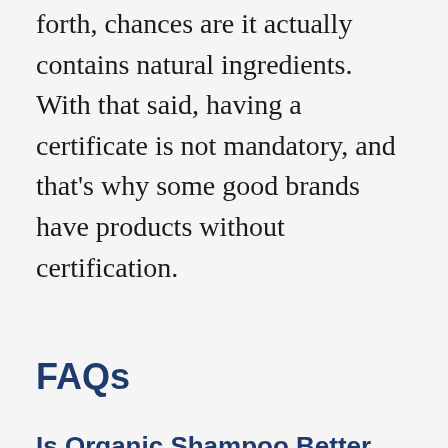forth, chances are it actually contains natural ingredients. With that said, having a certificate is not mandatory, and that's why some good brands have products without certification.
FAQs
Is Organic Shampoo Better than Regular Shampoo?
Yes, and the answer is simple. Organic